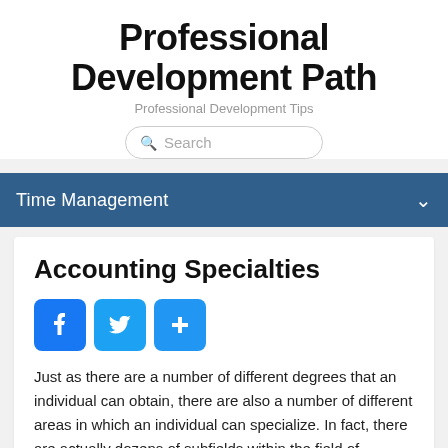Professional Development Path
Professional Development Tips
Search
Time Management
Accounting Specialties
[Figure (other): Social sharing buttons: Facebook, Twitter, and a generic share button]
Just as there are a number of different degrees that an individual can obtain, there are also a number of different areas in which an individual can specialize. In fact, there are actually dozens of subfields within the field of accounting that an individual can work in, and almost every accounting school